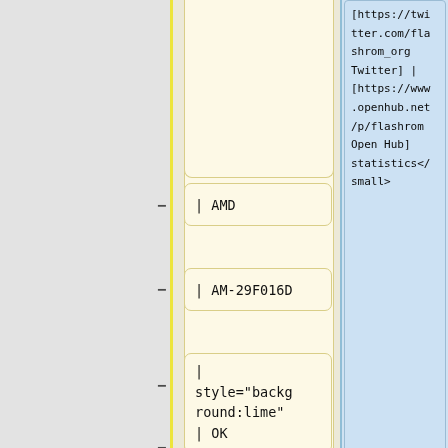[https://twitter.com/flashrom_org Twitter] | [https://www.openhub.net/p/flashrom Open Hub] statistics</small>
| AMD
| AM-29F016D
| style="background:lime" | OK
|- bgcolor="#eeeeee"